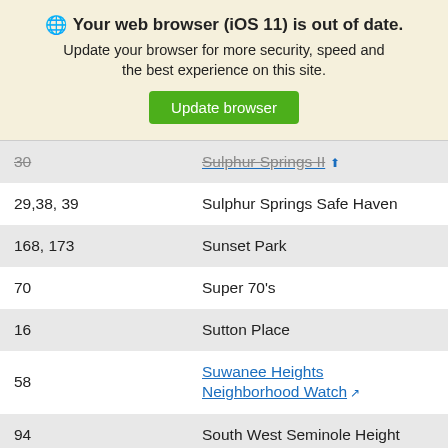Your web browser (iOS 11) is out of date. Update your browser for more security, speed and the best experience on this site. Update browser
| # | Name |
| --- | --- |
| 30 | Sulphur Springs II |
| 29,38, 39 | Sulphur Springs Safe Haven |
| 168, 173 | Sunset Park |
| 70 | Super 70's |
| 16 | Sutton Place |
| 58 | Suwanee Heights Neighborhood Watch |
| 94 | South West Seminole Height |
| 164 | Swann Estates Crime Watch |
| 157 | Swann Estates II |
|  | Tampa Heights Neighborhood |